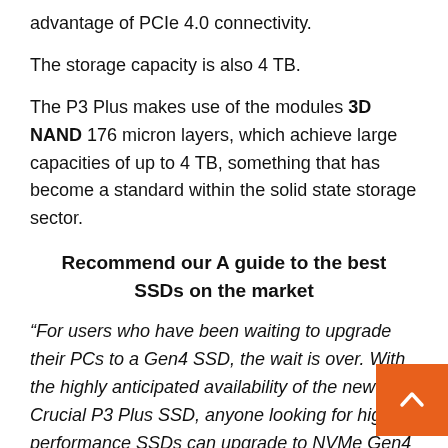advantage of PCIe 4.0 connectivity.
The storage capacity is also 4 TB.
The P3 Plus makes use of the modules 3D NAND 176 micron layers, which achieve large capacities of up to 4 TB, something that has become a standard within the solid state storage sector.
Recommend our A guide to the best SSDs on the market
“For users who have been waiting to upgrade their PCs to a Gen4 SSD, the wait is over. With the highly anticipated availability of the new Crucial P3 Plus SSD, anyone looking for high-performance SSDs can upgrade to NVMe Gen4 storage and protect their its own in the future at a reasonable cost.She said